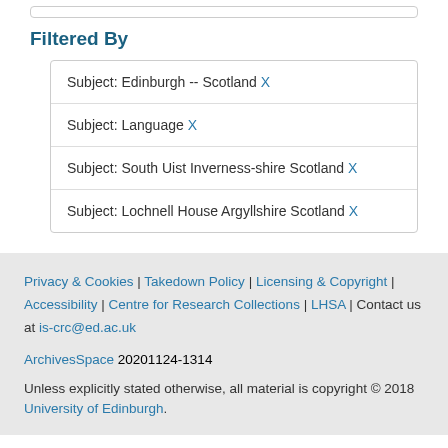Filtered By
Subject: Edinburgh -- Scotland X
Subject: Language X
Subject: South Uist Inverness-shire Scotland X
Subject: Lochnell House Argyllshire Scotland X
Privacy & Cookies | Takedown Policy | Licensing & Copyright | Accessibility | Centre for Research Collections | LHSA | Contact us at is-crc@ed.ac.uk

ArchivesSpace 20201124-1314

Unless explicitly stated otherwise, all material is copyright © 2018 University of Edinburgh.